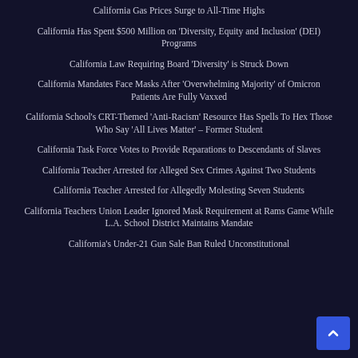California Gas Prices Surge to All-Time Highs
California Has Spent $500 Million on 'Diversity, Equity and Inclusion' (DEI) Programs
California Law Requiring Board 'Diversity' is Struck Down
California Mandates Face Masks After 'Overwhelming Majority' of Omicron Patients Are Fully Vaxxed
California School's CRT-Themed 'Anti-Racism' Resource Has Spells To Hex Those Who Say 'All Lives Matter' – Former Student
California Task Force Votes to Provide Reparations to Descendants of Slaves
California Teacher Arrested for Alleged Sex Crimes Against Two Students
California Teacher Arrested for Allegedly Molesting Seven Students
California Teachers Union Leader Ignored Mask Requirement at Rams Game While L.A. School District Maintains Mandate
California's Under-21 Gun Sale Ban Ruled Unconstitutional